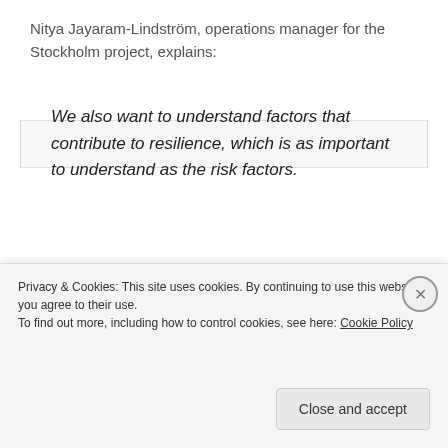Nitya Jayaram-Lindström, operations manager for the Stockholm project, explains:
We also want to understand factors that contribute to resilience, which is as important to understand as the risk factors.
[Figure (screenshot): Dark banner advertisement with a pink 'Start a survey' button and a circular white CrowdSignal logo on the right.]
Privacy & Cookies: This site uses cookies. By continuing to use this website, you agree to their use.
To find out more, including how to control cookies, see here: Cookie Policy
Close and accept